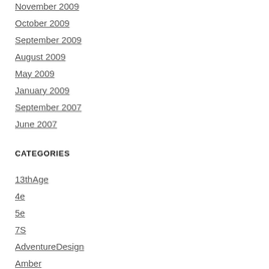November 2009
October 2009
September 2009
August 2009
May 2009
January 2009
September 2007
June 2007
CATEGORIES
13thAge
4e
5e
7S
AdventureDesign
Amber
anime